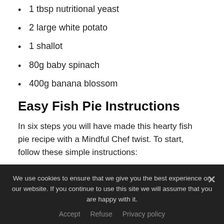1 tbsp nutritional yeast
2 large white potato
1 shallot
80g baby spinach
400g banana blossom
Easy Fish Pie Instructions
In six steps you will have made this hearty fish pie recipe with a Mindful Chef twist. To start, follow these simple instructions:
1. Preheat the oven to 220C / fan 200C / gas mark 7.
We use cookies to ensure that we give you the best experience on our website. If you continue to use this site we will assume that you are happy with it.
Accept   Refuse   Privacy policy